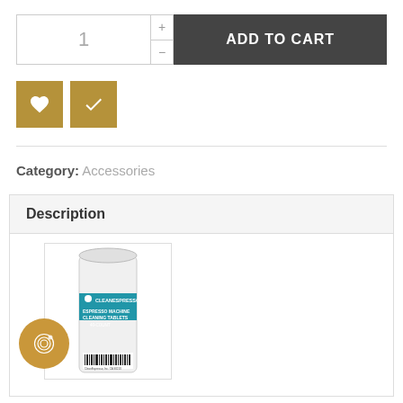[Figure (screenshot): E-commerce product page section showing quantity selector with '1', plus and minus buttons, and a dark 'ADD TO CART' button]
[Figure (screenshot): Two gold/tan square icon buttons: a heart (wishlist) icon and a checkmark icon]
Category: Accessories
Description
[Figure (photo): Product photo of CleanEspresso Espresso Machine Cleaning Tablets 40-count container with a fingerprint badge overlay]